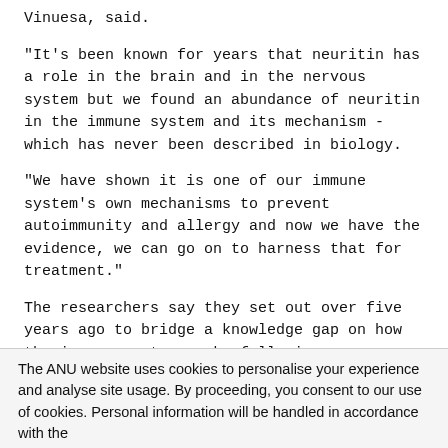Vinuesa, said.
"It's been known for years that neuritin has a role in the brain and in the nervous system but we found an abundance of neuritin in the immune system and its mechanism - which has never been described in biology.
"We have shown it is one of our immune system's own mechanisms to prevent autoimmunity and allergy and now we have the evidence, we can go on to harness that for treatment."
The researchers say they set out over five years ago to bridge a knowledge gap on how the immune system works following an
The ANU website uses cookies to personalise your experience and analyse site usage. By proceeding, you consent to our use of cookies. Personal information will be handled in accordance with the ANU Privacy Policy